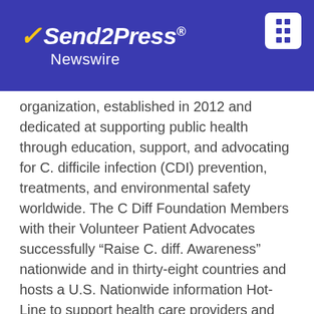Send2Press Newswire
organization, established in 2012 and dedicated at supporting public health through education, support, and advocating for C. difficile infection (CDI) prevention, treatments, and environmental safety worldwide. The C Diff Foundation Members with their Volunteer Patient Advocates successfully “Raise C. diff. Awareness” nationwide and in thirty-eight countries and hosts a U.S. Nationwide information Hot-Line to support health care providers and patients to manage through the difficulties of a C. diff. infection among many other programs. C Diff Foundation™ is a trademark of The C Diff Foundation, established 2012 in the U.S.
More Information:
https://cdifffoundation.org/